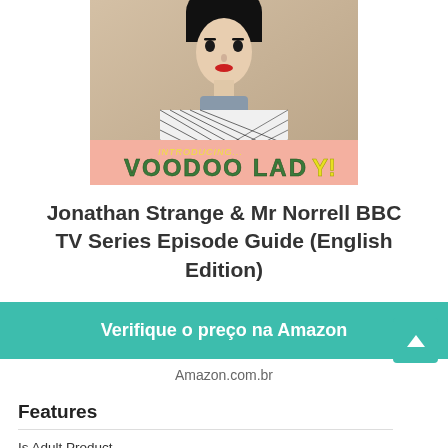[Figure (photo): Book cover for 'Jonathan Strange & Mr Norrell BBC TV Series Episode Guide (English Edition)' featuring a stylized woman in a patterned dress with the text 'INTRODUCING... VOODOO LADY!' on a pink banner]
Jonathan Strange & Mr Norrell BBC TV Series Episode Guide (English Edition)
Verifique o preço na Amazon
Amazon.com.br
Features
Is Adult Product